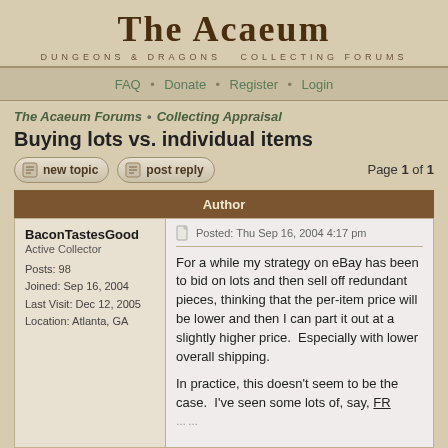The Acaeum
DUNGEONS & DRAGONS  COLLECTING FORUMS
FAQ • Donate • Register • Login
The Acaeum Forums • Collecting Appraisal
Buying lots vs. individual items
Page 1 of 1
| Author |
| --- |
| BaconTastesGood
Active Collector

Posts: 98
Joined: Sep 16, 2004
Last Visit: Dec 12, 2005
Location: Atlanta, GA | Posted: Thu Sep 16, 2004 4:17 pm

For a while my strategy on eBay has been to bid on lots and then sell off redundant pieces, thinking that the per-item price will be lower and then I can part it out at a slightly higher price.  Especially with lower overall shipping.

In practice, this doesn't seem to be the case.  I've seen some lots of, say, FR |